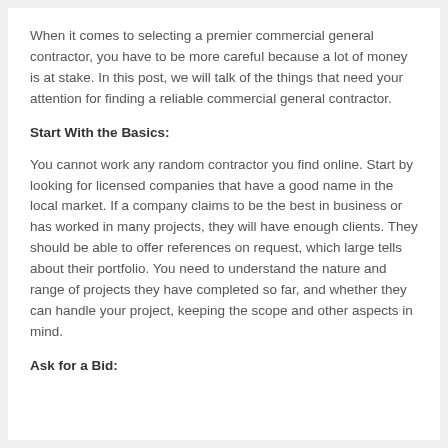When it comes to selecting a premier commercial general contractor, you have to be more careful because a lot of money is at stake. In this post, we will talk of the things that need your attention for finding a reliable commercial general contractor.
Start With the Basics:
You cannot work any random contractor you find online. Start by looking for licensed companies that have a good name in the local market. If a company claims to be the best in business or has worked in many projects, they will have enough clients. They should be able to offer references on request, which large tells about their portfolio. You need to understand the nature and range of projects they have completed so far, and whether they can handle your project, keeping the scope and other aspects in mind.
Ask for a Bid: